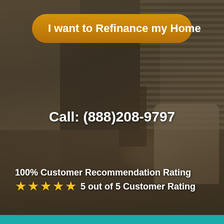[Figure (photo): Background photo of a furnished living room with stone fireplace, wooden furniture, armchairs, and large windows with blinds, overlaid with a dark semi-transparent filter.]
I want to Refinance my Home
Call: (888)208-9797
100% Customer Recommendation Rating
★★★★★ 5 out of 5 Customer Rating